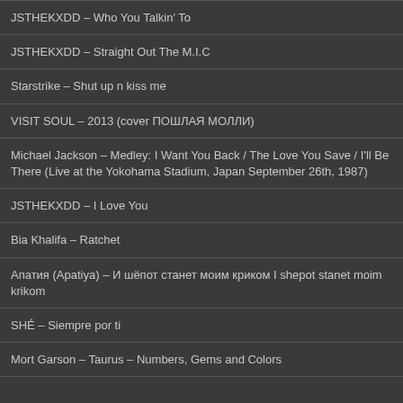JSTHEKXDD – Who You Talkin' To
JSTHEKXDD – Straight Out The M.I.C
Starstrike – Shut up n kiss me
VISIT SOUL – 2013 (cover ПОШЛАЯ МОЛЛИ)
Michael Jackson – Medley: I Want You Back / The Love You Save / I'll Be There (Live at the Yokohama Stadium, Japan September 26th, 1987)
JSTHEKXDD – I Love You
Bia Khalifa – Ratchet
Апатия (Apatiya) – И шёпот станет моим криком I shepot stanet moim krikom
SHÉ – Siempre por ti
Mort Garson – Taurus – Numbers, Gems and Colors